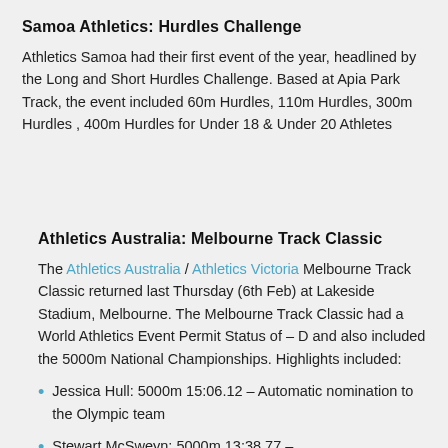Samoa Athletics: Hurdles Challenge
Athletics Samoa had their first event of the year, headlined by the Long and Short Hurdles Challenge. Based at Apia Park Track, the event included 60m Hurdles, 110m Hurdles, 300m Hurdles , 400m Hurdles for Under 18 & Under 20 Athletes
Athletics Australia: Melbourne Track Classic
The Athletics Australia / Athletics Victoria Melbourne Track Classic returned last Thursday (6th Feb) at Lakeside Stadium, Melbourne. The Melbourne Track Classic had a World Athletics Event Permit Status of – D and also included the 5000m National Championships. Highlights included:
Jessica Hull: 5000m 15:06.12 – Automatic nomination to the Olympic team
Stewart McSweyn: 5000m 13:38.77 –